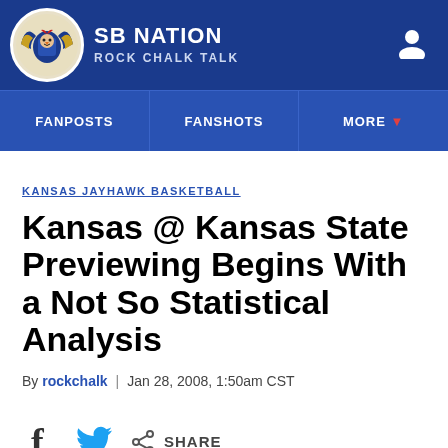SB NATION / ROCK CHALK TALK
KANSAS JAYHAWK BASKETBALL
Kansas @ Kansas State Previewing Begins With a Not So Statistical Analysis
By rockchalk | Jan 28, 2008, 1:50am CST
SHARE